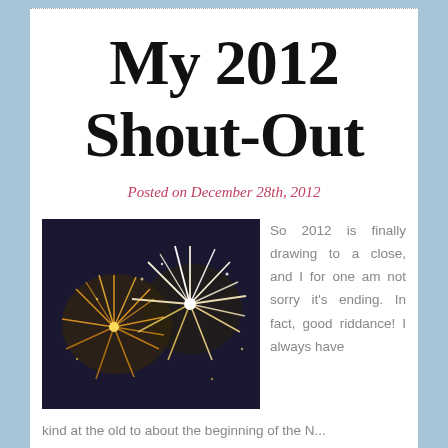My 2012 Shout-Out
Posted on December 28th, 2012
[Figure (photo): Fireworks against a dark night sky, featuring golden and white starburst explosions]
So 2012 is finally drawing to a close, and I for one am not sorry it's ending. In fact, good riddance! I always have